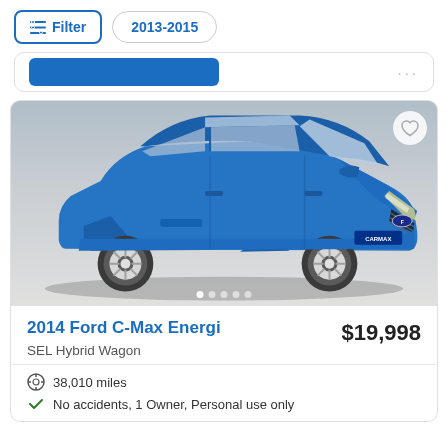Filter  2013-2015
[Figure (screenshot): Partial view of a car listing card with a blue button and ellipsis menu]
[Figure (photo): 2014 Ford C-Max Energi in bright blue, shown from front-left angle in a studio/showroom setting. CarMax dealer badge visible on front bumper. White alloy wheels.]
2014 Ford C-Max Energi
$19,998
SEL Hybrid Wagon
38,010 miles
No accidents, 1 Owner, Personal use only